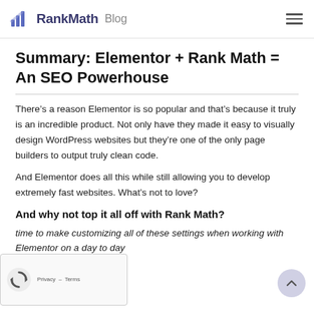RankMath Blog
Summary: Elementor + Rank Math = An SEO Powerhouse
There’s a reason Elementor is so popular and that’s because it truly is an incredible product. Not only have they made it easy to visually design WordPress websites but they’re one of the only page builders to output truly clean code.
And Elementor does all this while still allowing you to develop extremely fast websites. What’s not to love?
And why not top it all off with Rank Math?
time to make customizing all of these settings when working with Elementor on a day to day